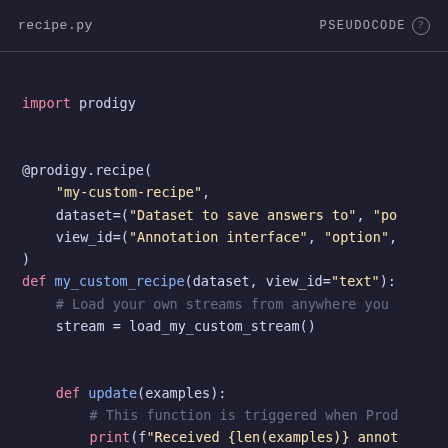recipe.py    PSEUDOCODE ?
[Figure (screenshot): Python source code editor screenshot showing a custom Prodigy recipe definition with import, decorator, function definition, nested update function, and return statement. Dark theme code editor with syntax highlighting.]